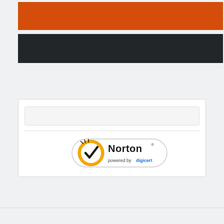[Figure (other): Orange navigation/header bar]
[Figure (other): Dark navigation/menu bar]
[Figure (other): White card with input field placeholder and Norton security seal powered by DigiCert]